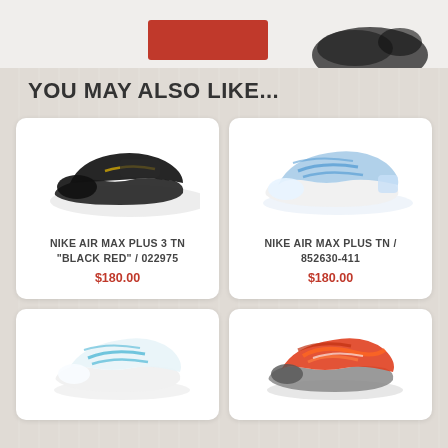[Figure (photo): Partial view of Nike shoe product with red box/packaging at top of page]
YOU MAY ALSO LIKE...
[Figure (photo): Nike Air Max Plus 3 TN Black Red sneaker product image]
NIKE AIR MAX PLUS 3 TN "BLACK RED" / 022975
$180.00
[Figure (photo): Nike Air Max Plus TN 852630-411 light blue sneaker product image]
NIKE AIR MAX PLUS TN / 852630-411
$180.00
[Figure (photo): Nike Air Max Plus TN white/teal sneaker product image (partially visible, bottom left)]
[Figure (photo): Nike Air Max Plus TN orange/red sneaker product image (partially visible, bottom right)]